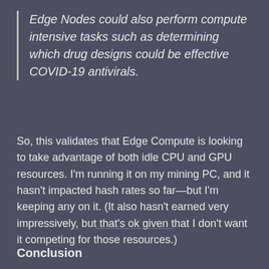Edge Nodes could also perform compute intensive tasks such as determining which drug designs could be effective COVID-19 antivirals.
So, this validates that Edge Compute is looking to take advantage of both idle CPU and GPU resources. I'm running it on my mining PC, and it hasn't impacted hash rates so far—but I'm keeping any on it. (It also hasn't earned very impressively, but that's ok given that I don't want it competing for those resources.)
Conclusion